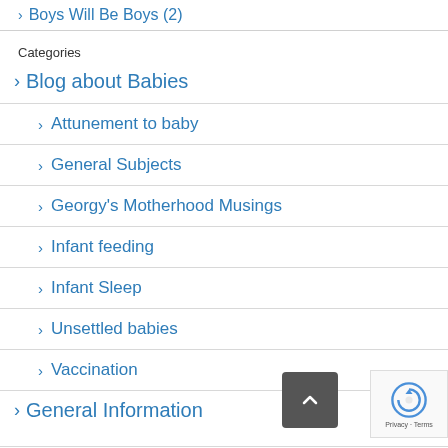> Boys Will Be Boys (2)
Categories
> Blog about Babies
> Attunement to baby
> General Subjects
> Georgy's Motherhood Musings
> Infant feeding
> Infant Sleep
> Unsettled babies
> Vaccination
> General Information